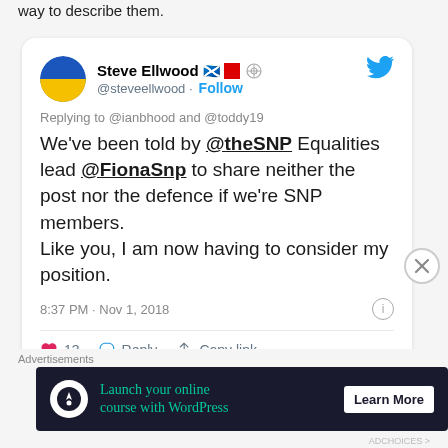way to describe them.
[Figure (screenshot): Tweet screenshot from Steve Ellwood (@steveellwood) with Ukraine flag and Scottish flag emojis, replying to @ianbhood and @toddy19: 'We've been told by @theSNP Equalities lead @FionaSnp to share neither the post nor the defence if we're SNP members. Like you, I am now having to consider my position.' Posted 8:37 PM · Nov 1, 2018. 13 likes.]
Advertisements
[Figure (infographic): Advertisement banner: 'Launch your online course with WordPress' with Learn More button]